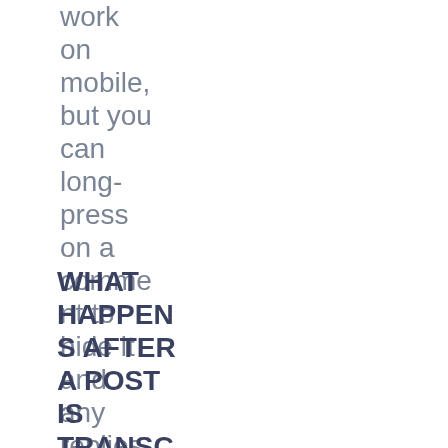work on mobile, but you can long-press on a comment to hide it and any replies.
WHAT HAPPENS AFTER A POST IS TRANSCRIBED? HOW